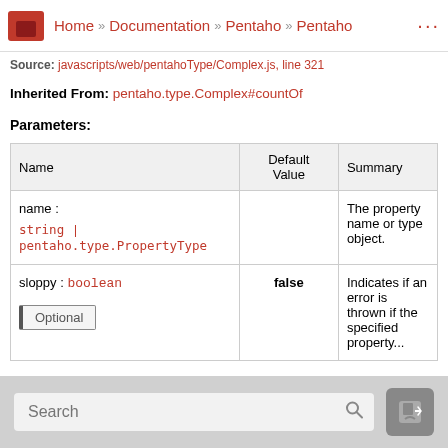Home » Documentation » Pentaho » Pentaho ...
Source: javascripts/web/pentahoType/Complex.js, line 321
Inherited From: pentaho.type.Complex#countOf
Parameters:
| Name | Default Value | Summary |
| --- | --- | --- |
| name :
string | pentaho.type.PropertyType |  | The property name or type object. |
| sloppy : boolean
Optional | false | Indicates if an error is thrown if the specified property... |